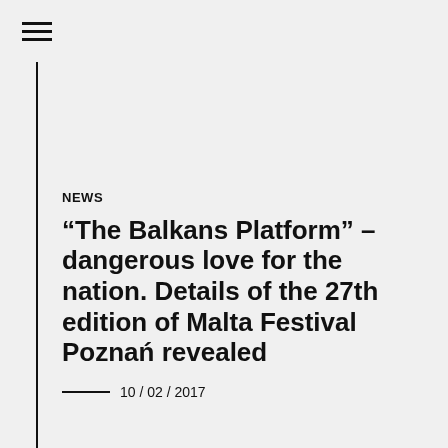[Figure (other): Hamburger menu icon with three horizontal lines]
NEWS
“The Balkans Platform” – dangerous love for the nation. Details of the 27th edition of Malta Festival Poznań revealed
10 / 02 / 2017